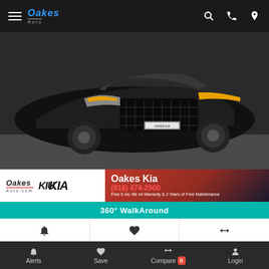Oakes Auto — navigation bar with search, phone, location icons
[Figure (photo): Dark grey 2022 Kia K5 EX front view photo showing grille and headlights]
Oakes Auto.com | Kia logo | Oakes Kia | (816) 474-2900 | Free 6 mo /8k mi Warranty & 2 Years of Free Maintenance
360° WalkAround
Bell icon | Heart icon | Compare icon
2022 Kia K5 EX
Miles: 9,726   Stock: K76434A   VIN: 5XXG34J2XNG122836
Market Value: $26,000
Oakes Price: $35,900
Alerts  Save  Compare 0  Login